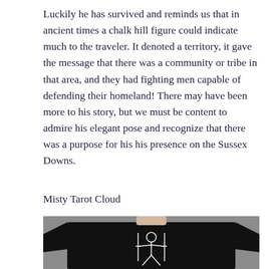Luckily he has survived and reminds us that in ancient times a chalk hill figure could indicate much to the traveler. It denoted a territory, it gave the message that there was a community or tribe in that area, and they had fighting men capable of defending their homeland! There may have been more to his story, but we must be content to admire his elegant pose and recognize that there was a purpose for his his presence on the Sussex Downs.
Misty Tarot Cloud
[Figure (photo): A person wearing a black t-shirt with a white line-art illustration of a standing figure on the chest, photographed against a grey background. Only the torso and lower neck are visible.]